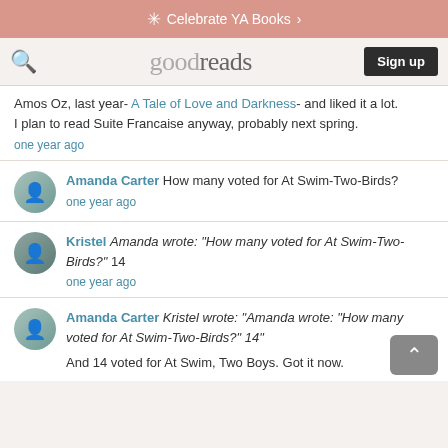Celebrate YA Books
[Figure (logo): Goodreads logo with search icon and Sign up button]
Amos Oz, last year- A Tale of Love and Darkness- and liked it a lot.
I plan to read Suite Francaise anyway, probably next spring.
one year ago
Amanda Carter How many voted for At Swim-Two-Birds?
one year ago
Kristel Amanda wrote: "How many voted for At Swim-Two-Birds?" 14
one year ago
Amanda Carter Kristel wrote: "Amanda wrote: "How many voted for At Swim-Two-Birds?" 14"
And 14 voted for At Swim, Two Boys. Got it now.